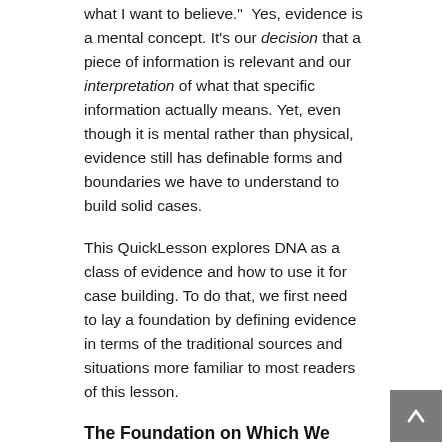what I want to believe."  Yes, evidence is a mental concept. It's our decision that a piece of information is relevant and our interpretation of what that specific information actually means. Yet, even though it is mental rather than physical, evidence still has definable forms and boundaries we have to understand to build solid cases.
This QuickLesson explores DNA as a class of evidence and how to use it for case building. To do that, we first need to lay a foundation by defining evidence in terms of the traditional sources and situations more familiar to most readers of this lesson.
The Foundation on Which We Build
Before we can turn any piece of information into evidence, we must decide one thing: What is the purpose for which we want to use this information?  We can express that purpose in one of two ways:
As a research question. For example:
Was John Watt of Washington County, Georgia, b...